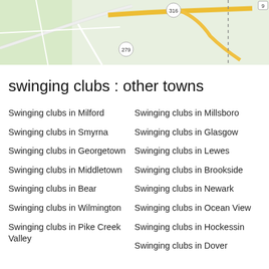[Figure (map): Partial map showing roads and towns including Bear, with route numbers 316, 279, 72, and 9 visible.]
swinging clubs : other towns
Swinging clubs in Milford
Swinging clubs in Millsboro
Swinging clubs in Smyrna
Swinging clubs in Glasgow
Swinging clubs in Georgetown
Swinging clubs in Lewes
Swinging clubs in Middletown
Swinging clubs in Brookside
Swinging clubs in Bear
Swinging clubs in Newark
Swinging clubs in Wilmington
Swinging clubs in Ocean View
Swinging clubs in Pike Creek Valley
Swinging clubs in Hockessin
Swinging clubs in Dover